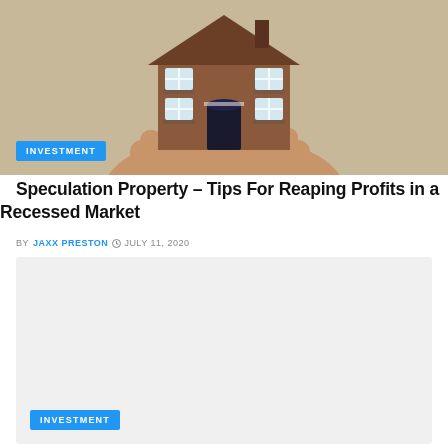[Figure (photo): A hand holding a miniature model of a red brick house with white window frames, against a beige background. A blue badge at bottom-left reads INVESTMENT.]
Speculation Property – Tips For Reaping Profits in a Recessed Market
BY JAXX PRESTON  © JULY 11, 2020
[Figure (photo): A light gray/beige rectangular placeholder image area, with a blue badge at bottom-left reading INVESTMENT.]